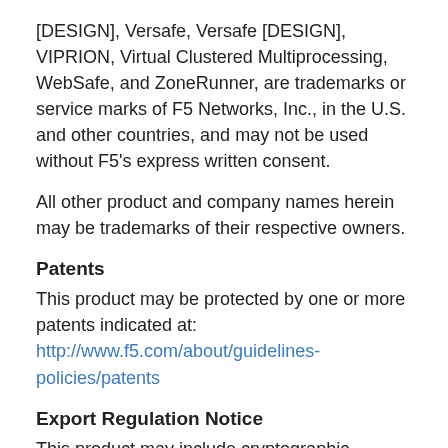[DESIGN], Versafe, Versafe [DESIGN], VIPRION, Virtual Clustered Multiprocessing, WebSafe, and ZoneRunner, are trademarks or service marks of F5 Networks, Inc., in the U.S. and other countries, and may not be used without F5's express written consent.
All other product and company names herein may be trademarks of their respective owners.
Patents
This product may be protected by one or more patents indicated at: http://www.f5.com/about/guidelines-policies/patents
Export Regulation Notice
This product may include cryptographic software. Under the Export Administration Act, the United States government may consider it a criminal offense to export this product from the United States.
RF Interference Warning
This is a Class A product. In a domestic environment this